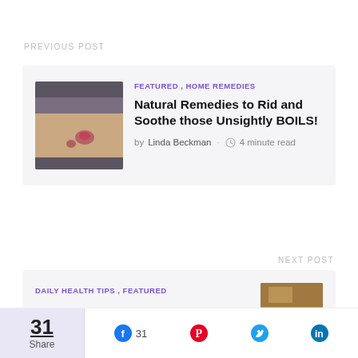PREVIOUS POST
[Figure (photo): Photo of a skin boil on a person's arm]
FEATURED , HOME REMEDIES
Natural Remedies to Rid and Soothe those Unsightly BOILS!
by Linda Beckman · 4 minute read
NEXT POST
DAILY HEALTH TIPS , FEATURED
[Figure (photo): Partial thumbnail photo for the next post]
31 Share  31